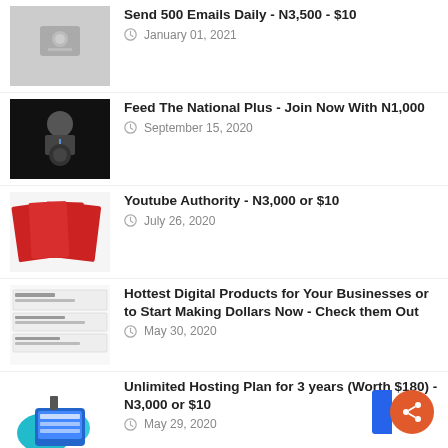Send 500 Emails Daily - N3,500 - $10
January 01, 2021
Feed The National Plus - Join Now With N1,000
September 15, 2020
Youtube Authority - N3,000 or $10
July 26, 2020
Hottest Digital Products for Your Businesses or to Start Making Dollars Now - Check them Out
May 30, 2020
Unlimited Hosting Plan for 3 years (Worth $180) - N3,000 or $10
May 29, 2020
All in One Dollar Business Package + Exclusive Mouth-watering Big Bonuses - N5,000 or $15
May 29, 2020